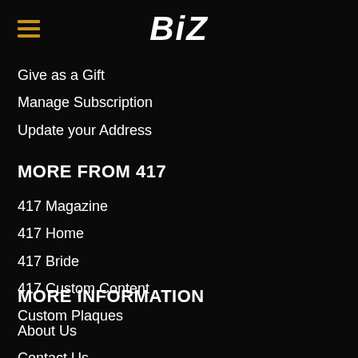BiZ
Give as a Gift
Manage Subscription
Update your Address
MORE FROM 417
417 Magazine
417 Home
417 Bride
417 Custom Content
Custom Plaques
MORE INFORMATION
About Us
Contact Us